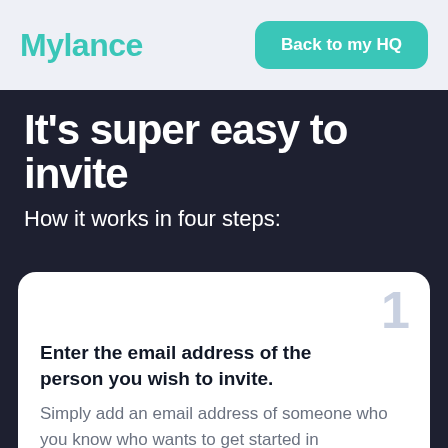Mylance
Back to my HQ
It's super easy to invite
How it works in four steps:
1 — Enter the email address of the person you wish to invite. Simply add an email address of someone who you know who wants to get started in